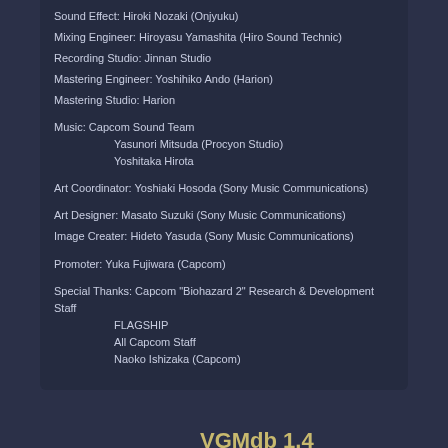Sound Effect: Hiroki Nozaki (Onjyuku)
Mixing Engineer: Hiroyasu Yamashita (Hiro Sound Technic)
Recording Studio: Jinnan Studio
Mastering Engineer: Yoshihiko Ando (Harion)
Mastering Studio: Harion
Music: Capcom Sound Team
    Yasunori Mitsuda (Procyon Studio)
    Yoshitaka Hirota
Art Coordinator: Yoshiaki Hosoda (Sony Music Communications)
Art Designer: Masato Suzuki (Sony Music Communications)
Image Creater: Hideto Yasuda (Sony Music Communications)
Promoter: Yuka Fujiwara (Capcom)
Special Thanks: Capcom "Biohazard 2" Research & Development Staff
    FLAGSHIP
    All Capcom Staff
    Naoko Ishizaka (Capcom)
[Figure (illustration): VGMdb mascot character, a cartoon boy with headphones sitting on a stack of CDs or records, drawn in a muted blue-gray style with musical notes around him]
VGMdb 1.4
Site code and design copyright VGMdb.net
Site material is property of their respective owners.
All times are GMT -8. The time now is 04:56 AM.